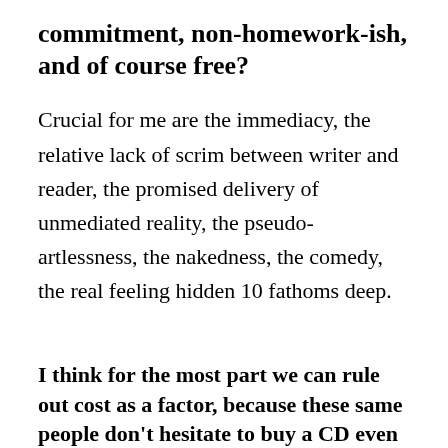commitment, non-homework-ish, and of course free?
Crucial for me are the immediacy, the relative lack of scrim between writer and reader, the promised delivery of unmediated reality, the pseudo-artlessness, the nakedness, the comedy, the real feeling hidden 10 fathoms deep.
I think for the most part we can rule out cost as a factor, because these same people don't hesitate to buy a CD even if they could download it, if the spirit moves them enough or if the artwork is cool enough or if the significance of the